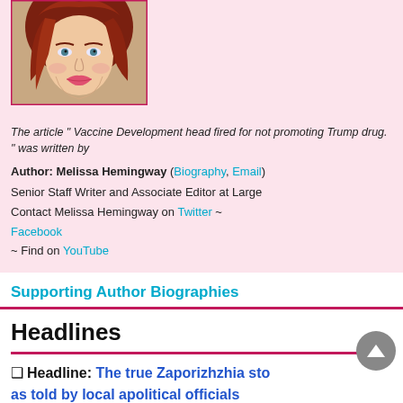[Figure (photo): Portrait photo of a young woman with red/auburn hair and blue/green eyes, slight pink lipstick, looking at camera.]
The article " Vaccine Development head fired for not promoting Trump drug. " was written by
Author: Melissa Hemingway (Biography, Email)
Senior Staff Writer and Associate Editor at Large
Contact Melissa Hemingway on Twitter ~
Facebook
~ Find on YouTube
Supporting Author Biographies
Headlines
❑ Headline: The true Zaporizhzhia story as told by local apolitical officials